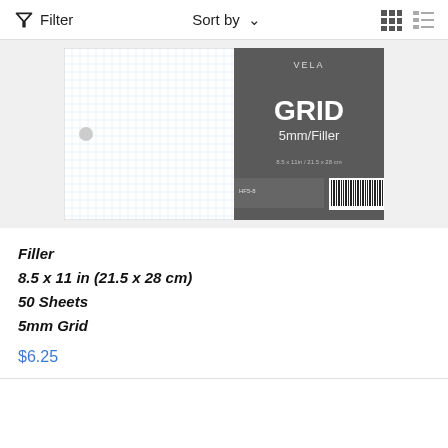Filter   Sort by   [grid view] [list view]
[Figure (photo): Product image of VELA Grid 5mm/Filler paper - landscape-oriented paper with a dark gray label showing 'VELA GRID 5mm/Filler', dimensions, and a barcode.]
Filler
8.5 x 11 in (21.5 x 28 cm)
50 Sheets
5mm Grid
$6.25